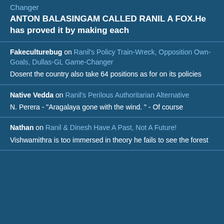Changer
ANTON BALASINGAM CALLED RANIL A FOX.He has proved it by making each
Fakeculturebug on Ranil's Policy Train-Wreck, Opposition Own-Goals, Dullas-GL Game-Changer
Dosent the country also take 64 positions as for on its policies
Native Vedda on Ranil's Perilous Authoritarian Alternative
N. Perera - "Aragalaya gone with the wind. " - Of course
Nathan on Ranil & Dinesh Have A Past, Not A Future!
Vishwamithra is too immersed in theory he fails to see the forest
Search for
01. Scavenger Hunt For Kids
02. Outdoor Scavenger Hunt
Yahoo! Search | Sponsored